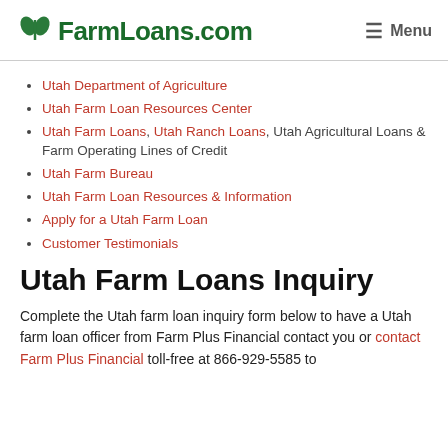FarmLoans.com  Menu
Utah Department of Agriculture
Utah Farm Loan Resources Center
Utah Farm Loans, Utah Ranch Loans, Utah Agricultural Loans & Farm Operating Lines of Credit
Utah Farm Bureau
Utah Farm Loan Resources & Information
Apply for a Utah Farm Loan
Customer Testimonials
Utah Farm Loans Inquiry
Complete the Utah farm loan inquiry form below to have a Utah farm loan officer from Farm Plus Financial contact you or contact Farm Plus Financial toll-free at 866-929-5585 to